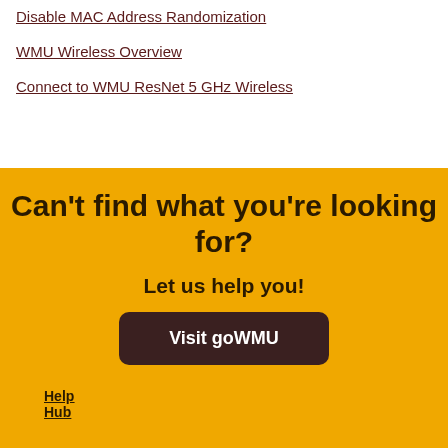Disable MAC Address Randomization
WMU Wireless Overview
Connect to WMU ResNet 5 GHz Wireless
Can't find what you're looking for?
Let us help you!
Visit goWMU
Help Hub